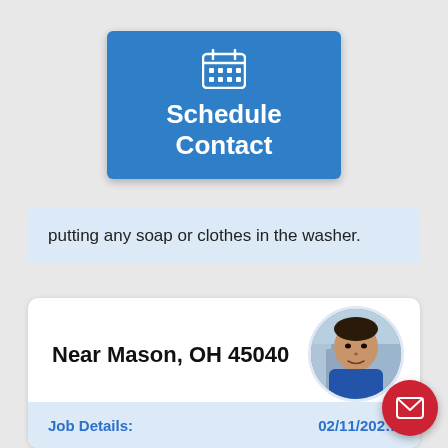[Figure (screenshot): Blue 'Schedule Contact' button with calendar icon on gray background]
putting any soap or clothes in the washer.
Near Mason, OH 45040
[Figure (photo): Circular profile photo of a man (Steve G)]
Steve G
Job Details:        02/11/202...